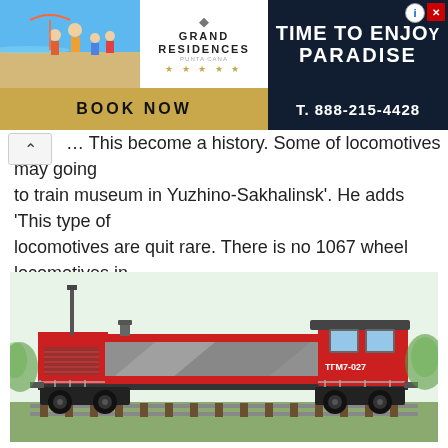[Figure (screenshot): Advertisement banner: Grand Residences luxury hotel ad with beach family photo on left, 'Grand Residences' branding in center, 'TIME TO ENJOY PARADISE' on dark right panel. Bottom strip has 'BOOK NOW' in gold and 'T. 888-215-4428' on dark background.]
… This become a history. Some of locomotives may going to train museum in Yuzhino-Sakhalinsk'. He adds 'This type of locomotives are quit rare. There is no 1067 wheel locomotives in the huge Russia except this.'
[Figure (photo): Photograph of a red and grey diesel locomotive labeled ТГМ7-027 on railway tracks with green vegetation in the background.]